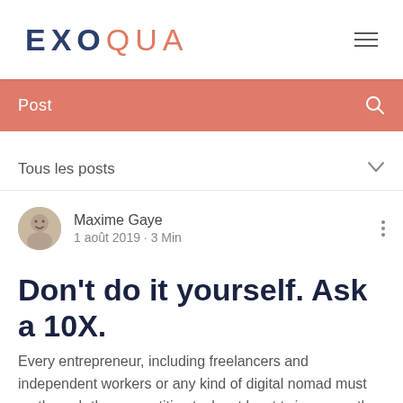EXOQUA
Post
Tous les posts
Maxime Gaye
1 août 2019 · 3 Min
Don't do it yourself. Ask a 10X.
Every entrepreneur, including freelancers and independent workers or any kind of digital nomad must go through those repetitive tasks at least twice a month